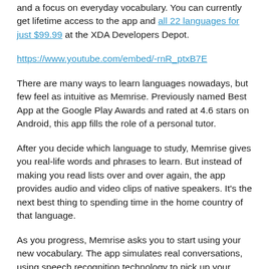and a focus on everyday vocabulary. You can currently get lifetime access to the app and all 22 languages for just $99.99 at the XDA Developers Depot.
https://www.youtube.com/embed/-rnR_ptxB7E
There are many ways to learn languages nowadays, but few feel as intuitive as Memrise. Previously named Best App at the Google Play Awards and rated at 4.6 stars on Android, this app fills the role of a personal tutor.
After you decide which language to study, Memrise gives you real-life words and phrases to learn. But instead of making you read lists over and over again, the app provides audio and video clips of native speakers. It’s the next best thing to spending time in the home country of that language.
As you progress, Memrise asks you to start using your new vocabulary. The app simulates real conversations, using speech recognition technology to pick up your responses.